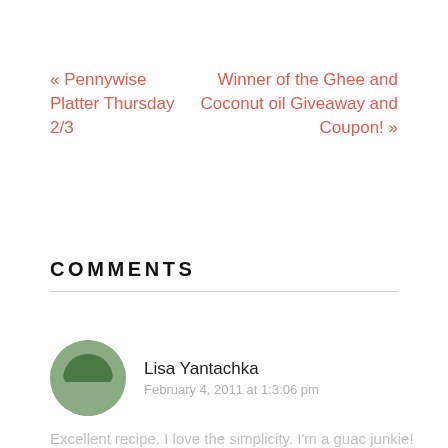« Pennywise Platter Thursday 2/3
Winner of the Ghee and Coconut oil Giveaway and Coupon! »
COMMENTS
Lisa Yantachka
February 4, 2011 at 1:3:06 pm
Excellent recipe. I love the simplicity. I'm a guac junkie!